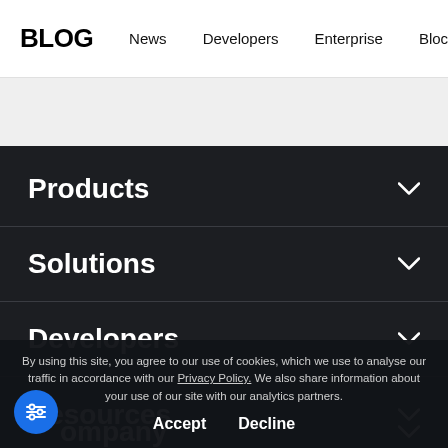BLOG  News  Developers  Enterprise  Blockchain Expl
Products
Solutions
Developers
Resources
Company
By using this site, you agree to our use of cookies, which we use to analyse our traffic in accordance with our Privacy Policy. We also share information about your use of our site with our analytics partners.
Accept   Decline